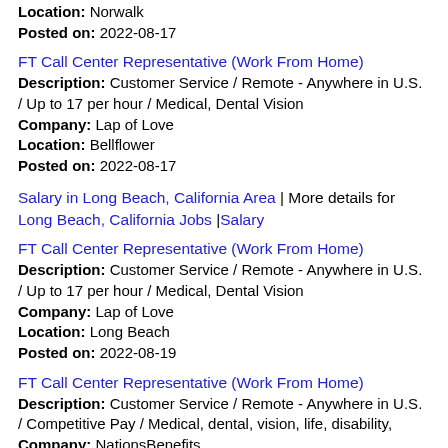Location: Norwalk
Posted on: 2022-08-17
FT Call Center Representative (Work From Home)
Description: Customer Service / Remote - Anywhere in U.S. / Up to 17 per hour / Medical, Dental Vision
Company: Lap of Love
Location: Bellflower
Posted on: 2022-08-17
Salary in Long Beach, California Area | More details for Long Beach, California Jobs |Salary
FT Call Center Representative (Work From Home)
Description: Customer Service / Remote - Anywhere in U.S. / Up to 17 per hour / Medical, Dental Vision
Company: Lap of Love
Location: Long Beach
Posted on: 2022-08-19
FT Call Center Representative (Work From Home)
Description: Customer Service / Remote - Anywhere in U.S. / Competitive Pay / Medical, dental, vision, life, disability,
Company: NationsBenefits
Location: Cerritos
Posted on: 2022-08-20